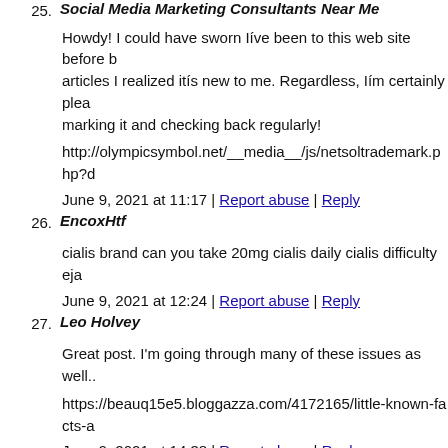25. Social Media Marketing Consultants Near Me
Howdy! I could have sworn Iíve been to this web site before but after going through some of the articles I realized itís new to me. Regardless, Iím certainly pleased I discovered it and Iíll be book-marking it and checking back regularly!
http://olympicsymbol.net/__media__/js/netsoltrademark.php?d...
June 9, 2021 at 11:17 | Report abuse | Reply
26. EncoxHtf
cialis brand can you take 20mg cialis daily cialis difficulty ejaculating
June 9, 2021 at 12:24 | Report abuse | Reply
27. Leo Holvey
Great post. I'm going through many of these issues as well..
https://beauq15e5.bloggazza.com/4172165/little-known-facts-a...
June 9, 2021 at 14:38 | Report abuse | Reply
28. Branden Clinkinbeard
https://tieba.baidu.com/mo/q/checkurl?url=https://andresq04c5...on-repair-shop
June 9, 2021 at 16:24 | Report abuse | Reply